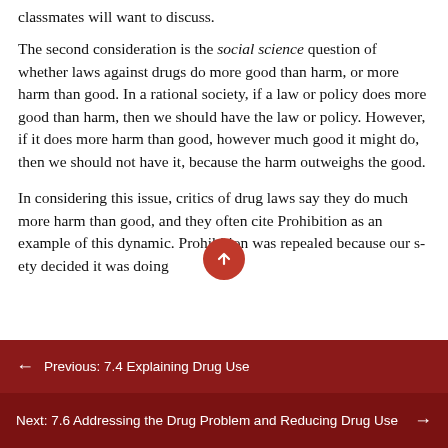classmates will want to discuss.
The second consideration is the social science question of whether laws against drugs do more good than harm, or more harm than good. In a rational society, if a law or policy does more good than harm, then we should have the law or policy. However, if it does more harm than good, however much good it might do, then we should not have it, because the harm outweighs the good.
In considering this issue, critics of drug laws say they do much more harm than good, and they often cite Prohibition as an example of this dynamic. Prohibition was repealed because our society decided it was doing
Previous: 7.4 Explaining Drug Use
Next: 7.6 Addressing the Drug Problem and Reducing Drug Use